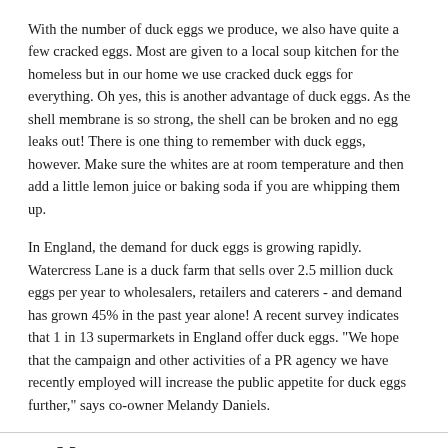With the number of duck eggs we produce, we also have quite a few cracked eggs. Most are given to a local soup kitchen for the homeless but in our home we use cracked duck eggs for everything. Oh yes, this is another advantage of duck eggs. As the shell membrane is so strong, the shell can be broken and no egg leaks out! There is one thing to remember with duck eggs, however. Make sure the whites are at room temperature and then add a little lemon juice or baking soda if you are whipping them up.
In England, the demand for duck eggs is growing rapidly. Watercress Lane is a duck farm that sells over 2.5 million duck eggs per year to wholesalers, retailers and caterers - and demand has grown 45% in the past year alone! A recent survey indicates that 1 in 13 supermarkets in England offer duck eggs. "We hope that the campaign and other activities of a PR agency we have recently employed will increase the public appetite for duck eggs further," says co-owner Melandy Daniels.
[Figure (logo): Metzer Farms logo with tree icon and navigation bar showing HOME, DUCKS, GEESE, CHICKENS, GAME]
Madrone Coast Farm
Sheep Ranch, CA